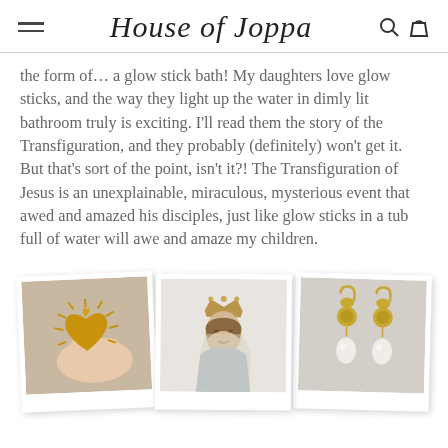House of Joppa
the form of… a glow stick bath! My daughters love glow sticks, and the way they light up the water in dimly lit bathroom truly is exciting. I'll read them the story of the Transfiguration, and they probably (definitely) won't get it. But that's sort of the point, isn't it?! The Transfiguration of Jesus is an unexplainable, miraculous, mysterious event that awed and amazed his disciples, just like glow sticks in a tub full of water will awe and amaze my children.
[Figure (photo): A hand holding a golden sacred heart ornament with radiating spikes, polaroid-style photo]
[Figure (photo): A ceramic statue of the Virgin Mary wearing a crown, polaroid-style photo]
[Figure (photo): Gold earrings with pearl drops on a gray background, polaroid-style photo]